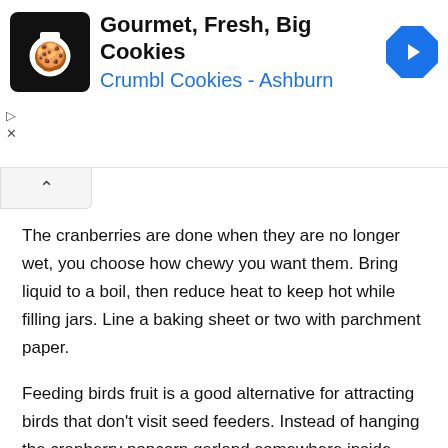[Figure (screenshot): Advertisement banner for Crumbl Cookies - Ashburn with cookie chef logo, navigation icon, and ad controls]
The cranberries are done when they are no longer wet, you choose how chewy you want them. Bring liquid to a boil, then reduce heat to keep hot while filling jars. Line a baking sheet or two with parchment paper.
Feeding birds fruit is a good alternative for attracting birds that don't visit seed feeders. Instead of hanging the cranberry popcorn garland somewhere inside where it could potentially drip or begin to smell, why not hang it outside for our birds to enjoy? If you can dry out some fresh cranberries yourself or pick up some that don't have additives, that's going to be much better for them.
You can keep the oven door slightly open for better air circulation. After 4 hours take cranberries out of the oven and using a spatula